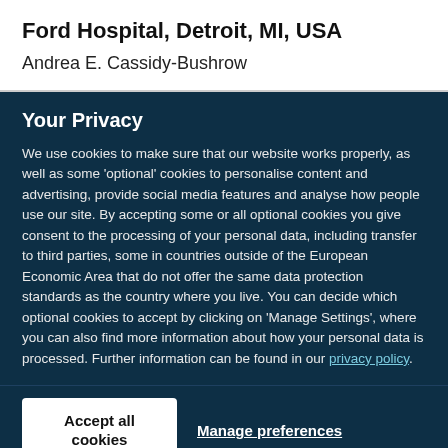Ford Hospital, Detroit, MI, USA
Andrea E. Cassidy-Bushrow
Your Privacy
We use cookies to make sure that our website works properly, as well as some 'optional' cookies to personalise content and advertising, provide social media features and analyse how people use our site. By accepting some or all optional cookies you give consent to the processing of your personal data, including transfer to third parties, some in countries outside of the European Economic Area that do not offer the same data protection standards as the country where you live. You can decide which optional cookies to accept by clicking on 'Manage Settings', where you can also find more information about how your personal data is processed. Further information can be found in our privacy policy.
Accept all cookies
Manage preferences